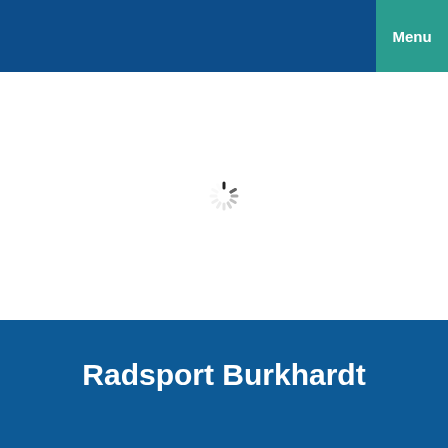Menu
[Figure (other): Loading spinner (animated loading indicator) centered in white content area]
Radsport Burkhardt